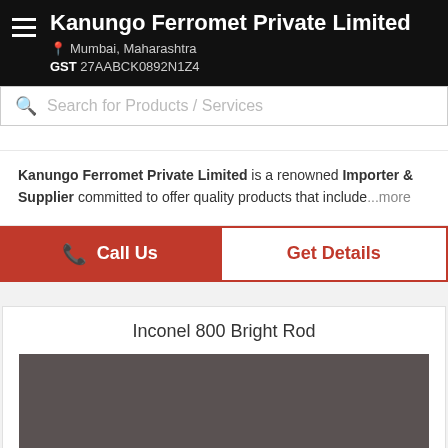Kanungo Ferromet Private Limited | Mumbai, Maharashtra | GST 27AABCK0892N1Z4
Search for Products / Services
Kanungo Ferromet Private Limited is a renowned Importer & Supplier committed to offer quality products that include...more
Call Us
Get Details
Inconel 800 Bright Rod
[Figure (photo): Dark gray/brown rectangular product image placeholder for Inconel 800 Bright Rod]